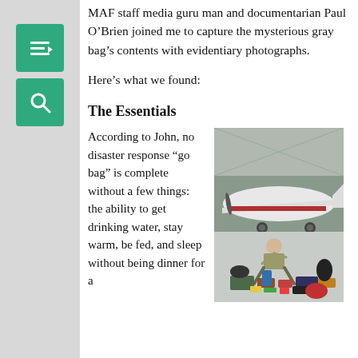MAF staff media guru man and documentarian Paul O’Brien joined me to capture the mysterious gray bag’s contents with evidentiary photographs.
Here’s what we found:
The Essentials
According to John, no disaster response “go bag” is complete without a few things: the ability to get drinking water, stay warm, be fed, and sleep without being dinner for a
[Figure (photo): A man sitting on a hangar floor in front of a small white and red propeller aircraft, surrounded by the spread-out contents of a go bag including various survival gear, pouches, and supplies.]